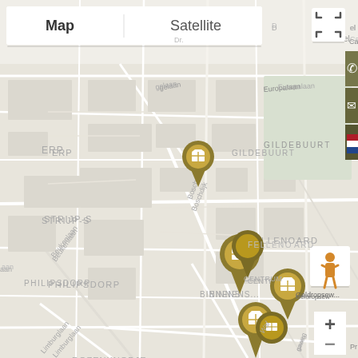[Figure (map): Google Maps view of Eindhoven, Netherlands showing neighborhood districts including STRIJP-S, PHILIPSDORP, FELLENOORD, BINNENSTAD, LAKERLOPEN, ROZENKNOPJE, STRATUM, TU-TERREIN, and GILDEBUURT. Multiple golden package delivery location pins clustered around the city center. Map/Satellite toggle controls, phone/email/language side buttons, pegman street view control, and zoom +/- buttons are visible.]